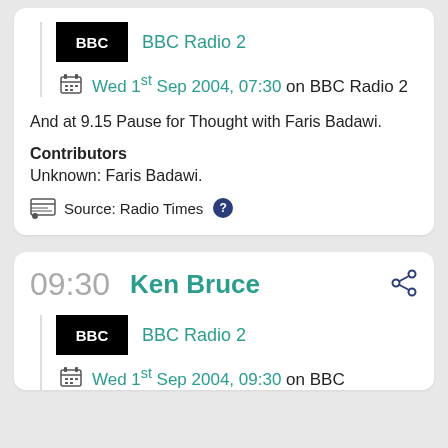[Figure (logo): BBC logo black square with white BBC text]
BBC Radio 2
Wed 1st Sep 2004, 07:30 on BBC Radio 2
And at 9.15 Pause for Thought with Faris Badawi.
Contributors
Unknown:  Faris Badawi.
Source: Radio Times
09:30
Ken Bruce
[Figure (logo): BBC logo black square with white BBC text]
BBC Radio 2
Wed 1st Sep 2004, 09:30 on BBC